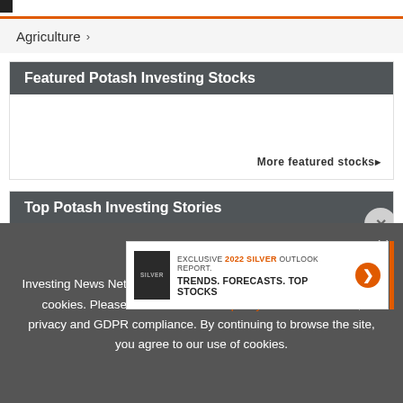Agriculture >
Featured Potash Investing Stocks
More featured stocks▸
Top Potash Investing Stories
[Figure (screenshot): Advertisement banner: EXCLUSIVE 2022 SILVER OUTLOOK REPORT. TRENDS. FORECASTS. TOP STOCKS with orange arrow button]
Investing News Network websites or approved third-party tools use cookies. Please refer to the cookie policy for collected data, privacy and GDPR compliance. By continuing to browse the site, you agree to our use of cookies.